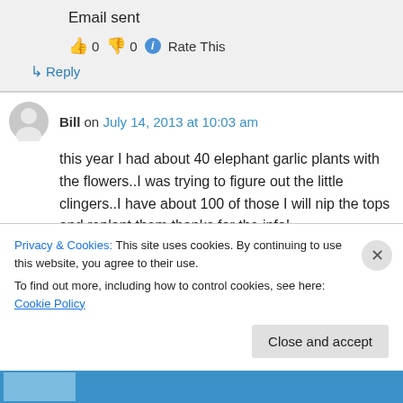Email sent
👍 0 👎 0 ℹ Rate This
↳ Reply
Bill on July 14, 2013 at 10:03 am
this year I had about 40 elephant garlic plants with the flowers..I was trying to figure out the little clingers..I have about 100 of those I will nip the tops and replant them thanks for the info!
Privacy & Cookies: This site uses cookies. By continuing to use this website, you agree to their use.
To find out more, including how to control cookies, see here: Cookie Policy
Close and accept